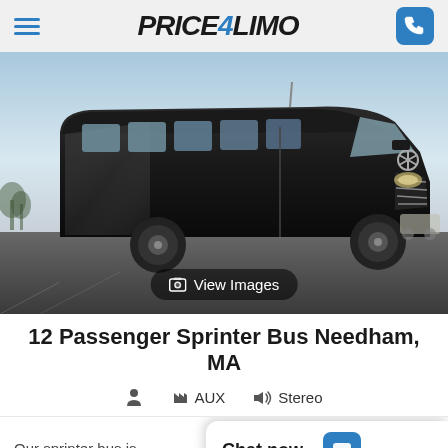Price4Limo — navigation header with hamburger menu and phone button
[Figure (photo): Black Mercedes-Benz Sprinter passenger van/bus parked on a lot, side and front view, with a 'View Images' button overlay at the bottom center]
12 Passenger Sprinter Bus Needham, MA
AUX  Stereo
Our sprinter bus is
Chat now